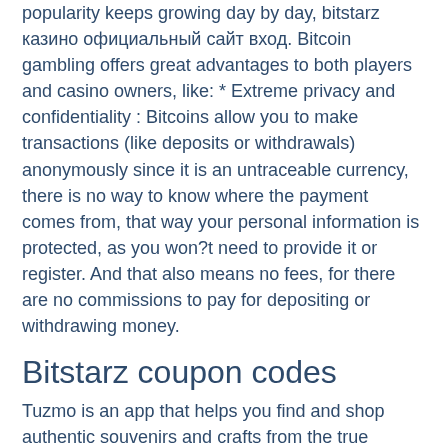popularity keeps growing day by day, bitstarz казино официальный сайт вход. Bitcoin gambling offers great advantages to both players and casino owners, like: * Extreme privacy and confidentiality : Bitcoins allow you to make transactions (like deposits or withdrawals) anonymously since it is an untraceable currency, there is no way to know where the payment comes from, that way your personal information is protected, as you won?t need to provide it or register. And that also means no fees, for there are no commissions to pay for depositing or withdrawing money.
Bitstarz coupon codes
Tuzmo is an app that helps you find and shop authentic souvenirs and crafts from the true artisans in your travel destinations. Tuzmo makes it easy to bring. Биткойн-казино и сайты, посвященные азартным играм на биткойны, популярны как